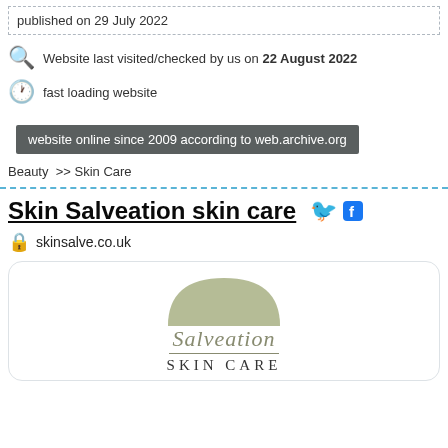published on 29 July 2022
Website last visited/checked by us on 22 August 2022
fast loading website
website online since 2009 according to web.archive.org
Beauty >> Skin Care
Skin Salveation skin care
skinsalve.co.uk
[Figure (logo): Salveation Skin Care logo with olive green arc/dome shape above italic script text 'Salveation' and serif caps 'SKIN CARE']